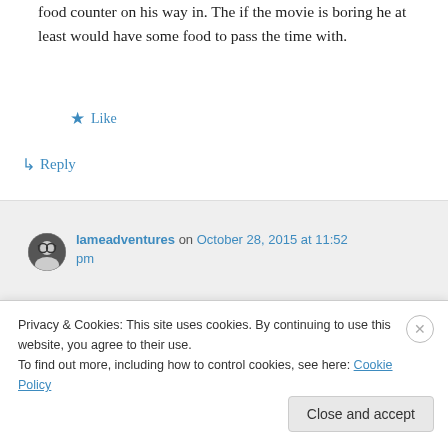food counter on his way in. The if the movie is boring he at least would have some food to pass the time with.
★ Like
↳ Reply
lameadventures on October 28, 2015 at 11:52 pm
We love attending the NYFF and I always
Privacy & Cookies: This site uses cookies. By continuing to use this website, you agree to their use.
To find out more, including how to control cookies, see here: Cookie Policy
Close and accept